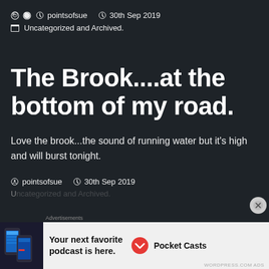pointsofsue  30th Sep 2019  Uncategorized and Archived.
The Brook....at the bottom of my road.
Love the brook...the sound of running water but it's high and will burst tonight.
pointsofsue  30th Sep 2019
[Figure (other): Pocket Casts advertisement banner at the bottom of the page showing app screenshots and text: Your next favorite podcast is here.]